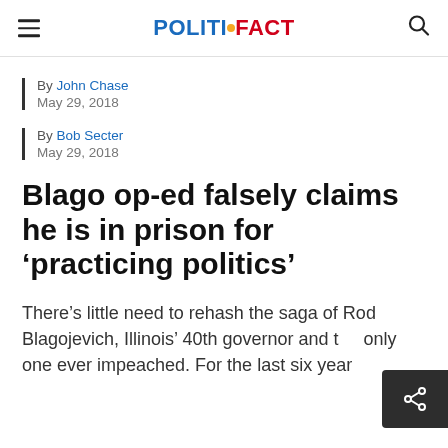POLITIFACT
By John Chase
May 29, 2018
By Bob Secter
May 29, 2018
Blago op-ed falsely claims he is in prison for ‘practicing politics’
There’s little need to rehash the saga of Rod Blagojevich, Illinois’ 40th governor and the only one ever impeached. For the last six years